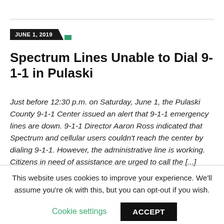JUNE 1, 2019
Spectrum Lines Unable to Dial 9-1-1 in Pulaski
Just before 12:30 p.m. on Saturday, June 1, the Pulaski County 9-1-1 Center issued an alert that 9-1-1 emergency lines are down. 9-1-1 Director Aaron Ross indicated that Spectrum and cellular users couldn't reach the center by dialing 9-1-1. However, the administrative line is working. Citizens in need of assistance are urged to call the [...]
This website uses cookies to improve your experience. We'll assume you're ok with this, but you can opt-out if you wish.
Cookie settings  ACCEPT